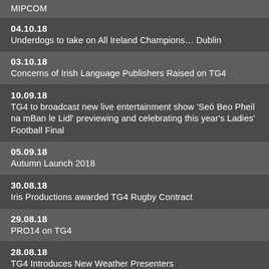MIPCOM
04.10.18
Underdogs to take on All Ireland Champions… Dublin
03.10.18
Concerns of Irish Language Publishers Raised on TG4
10.09.18
TG4 to broadcast new live entertainment show 'Seó Beo Pheil na mBan le Lidl' previewing and celebrating this year's Ladies' Football Final
05.09.18
Autumn Launch 2018
30.08.18
Iris Productions awarded TG4 Rugby Contract
29.08.18
PRO14 on TG4
28.08.18
TG4 Introduces New Weather Presenters
21.08.18